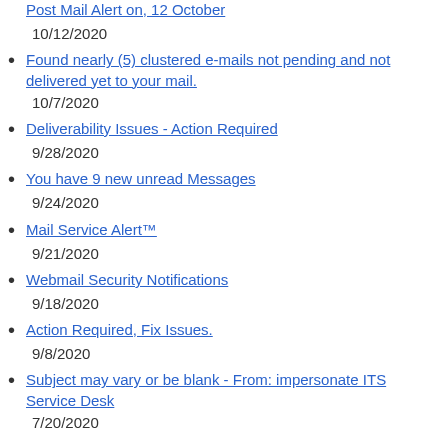Post Mail Alert on, 12 October
10/12/2020
Found nearly (5) clustered e-mails not pending and not delivered yet to your mail.
10/7/2020
Deliverability Issues - Action Required
9/28/2020
You have 9 new unread Messages
9/24/2020
Mail Service Alert™
9/21/2020
Webmail Security Notifications
9/18/2020
Action Required, Fix Issues.
9/8/2020
Subject may vary or be blank - From: impersonate ITS Service Desk
7/20/2020